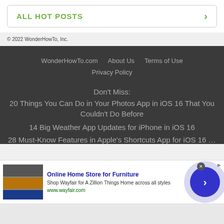ALL HOT POSTS
© 2022 WonderHowTo, Inc.
WonderHowTo.com   About Us   Terms of Use   Privacy Policy
Don't Miss:
20 Things You Can Do in Your Photos App in iOS 16 That You Couldn't Do Before
14 Big Weather App Updates for iPhone in iOS 16
28 Must-Know Features in Apple's Shortcuts App for iOS 16 and...
[Figure (screenshot): Advertisement banner for Wayfair Online Home Store for Furniture. Contains product image, ad title 'Online Home Store for Furniture', description 'Shop Wayfair for A Zillion Things Home across all styles', URL 'www.wayfair.com', close button, and navigation arrow button.]